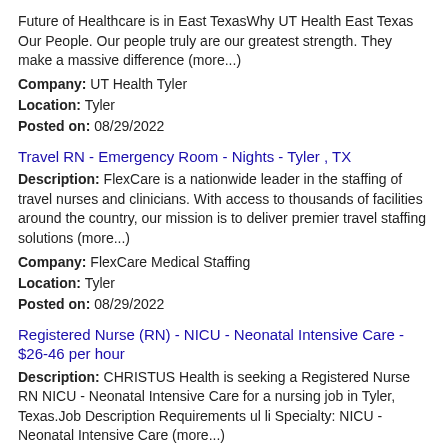Future of Healthcare is in East TexasWhy UT Health East Texas Our People. Our people truly are our greatest strength. They make a massive difference (more...)
Company: UT Health Tyler
Location: Tyler
Posted on: 08/29/2022
Travel RN - Emergency Room - Nights - Tyler , TX
Description: FlexCare is a nationwide leader in the staffing of travel nurses and clinicians. With access to thousands of facilities around the country, our mission is to deliver premier travel staffing solutions (more...)
Company: FlexCare Medical Staffing
Location: Tyler
Posted on: 08/29/2022
Registered Nurse (RN) - NICU - Neonatal Intensive Care - $26-46 per hour
Description: CHRISTUS Health is seeking a Registered Nurse RN NICU - Neonatal Intensive Care for a nursing job in Tyler, Texas.Job Description Requirements ul li Specialty: NICU - Neonatal Intensive Care (more...)
Company: CHRISTUS Health
Location: Whitehouse